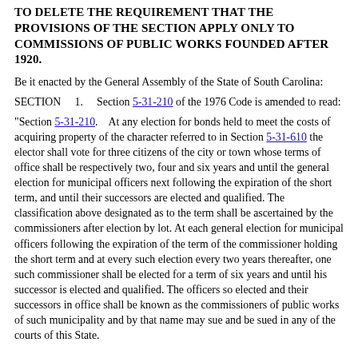TO DELETE THE REQUIREMENT THAT THE PROVISIONS OF THE SECTION APPLY ONLY TO COMMISSIONS OF PUBLIC WORKS FOUNDED AFTER 1920.
Be it enacted by the General Assembly of the State of South Carolina:
SECTION    1.    Section 5-31-210 of the 1976 Code is amended to read:
"Section 5-31-210.    At any election for bonds held to meet the costs of acquiring property of the character referred to in Section 5-31-610 the elector shall vote for three citizens of the city or town whose terms of office shall be respectively two, four and six years and until the general election for municipal officers next following the expiration of the short term, and until their successors are elected and qualified. The classification above designated as to the term shall be ascertained by the commissioners after election by lot. At each general election for municipal officers following the expiration of the term of the commissioner holding the short term and at every such election every two years thereafter, one such commissioner shall be elected for a term of six years and until his successor is elected and qualified. The officers so elected and their successors in office shall be known as the commissioners of public works of such municipality and by that name may sue and be sued in any of the courts of this State.